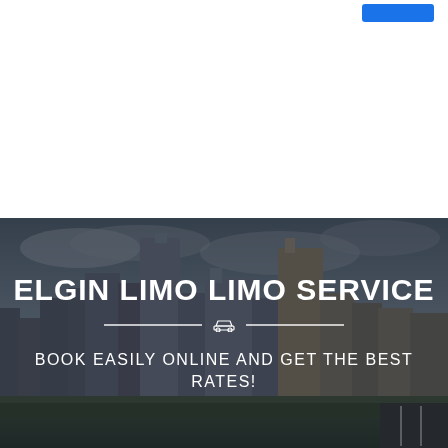[Figure (screenshot): White top navigation area with a blue button in the upper right corner]
[Figure (photo): City skyline hero banner with dark overlay. Shows tall buildings against a cloudy sky. Contains the text 'ELGIN LIMO LIMO SERVICE' in large white bold letters, a car icon divider, and 'BOOK EASILY ONLINE AND GET THE BEST RATES!' subtitle in white uppercase letters.]
ELGIN LIMO LIMO SERVICE
BOOK EASILY ONLINE AND GET THE BEST RATES!